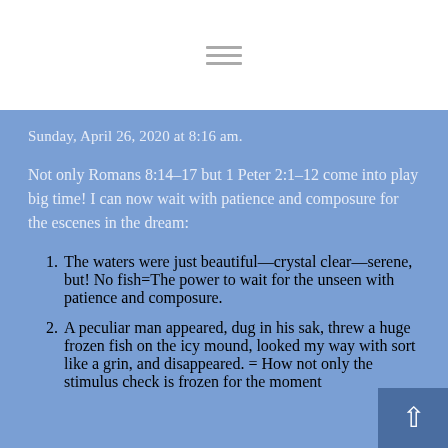Sunday, April 26, 2020 at 8:16 am.
Not only Romans 8:14–17 but 1 Peter 2:1–12 come into play big time! I can now wait with patience and composure for the escenes in the dream:
The waters were just beautiful—crystal clear—serene, but! No fish=The power to wait for the unseen with patience and composure.
A peculiar man appeared, dug in his sak, threw a huge frozen fish on the icy mound, looked my way with sort like a grin, and disappeared. = How not only the stimulus check is frozen for the moment